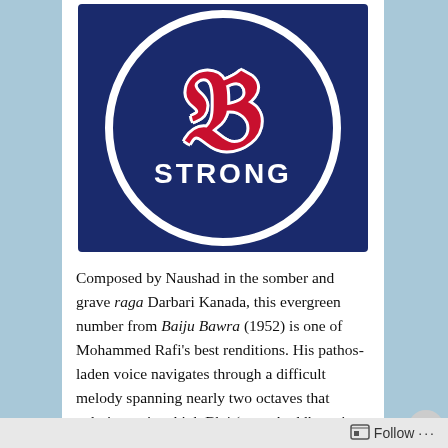[Figure (logo): Boston Red Sox B Strong logo — dark navy background with white circle border, large red stylized B letter, and white bold text STRONG below]
Composed by Naushad in the somber and grave raga Darbari Kanada, this evergreen number from Baiju Bawra (1952) is one of Mohammed Rafi's best renditions. His pathos-laden voice navigates through a difficult melody spanning nearly two octaves that culminates in a high Bb4 (taar shuddh ma in the key of F) during the final
Advertisements
[Figure (photo): MAC cosmetics advertisement with lipsticks and SHOP NOW button]